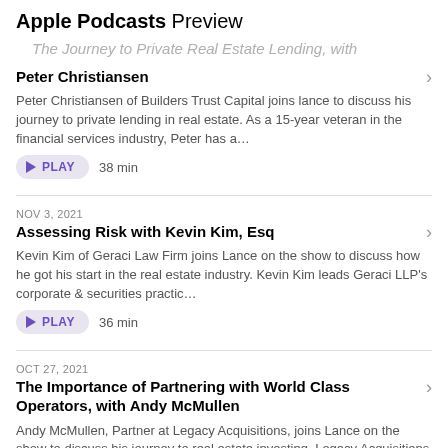Apple Podcasts Preview
The Journey to Private Real Estate Lending, with
Peter Christiansen
Peter Christiansen of Builders Trust Capital joins lance to discuss his journey to private lending in real estate. As a 15-year veteran in the financial services industry, Peter has a…
PLAY  38 min
NOV 3, 2021
Assessing Risk with Kevin Kim, Esq
Kevin Kim of Geraci Law Firm joins Lance on the show to discuss how he got his start in the real estate industry. Kevin Kim leads Geraci LLP's corporate & securities practic…
PLAY  36 min
OCT 27, 2021
The Importance of Partnering with World Class Operators, with Andy McMullen
Andy McMullen, Partner at Legacy Acquisitions, joins Lance on the show to discuss his journey to real estate investing. Legacy Acquisitions is focused on partnering with world…
PLAY  39 min